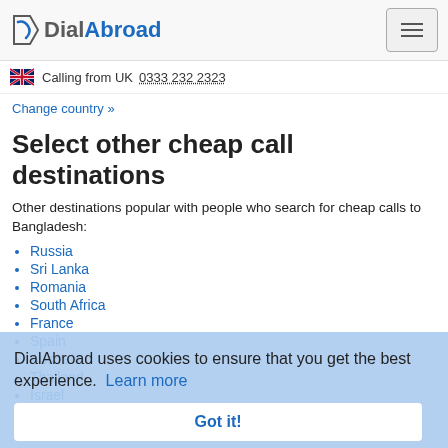DialAbroad
Calling from UK 0333 232 2323
Change country »
Select other cheap call destinations
Other destinations popular with people who search for cheap calls to Bangladesh:
Russia
Sri Lanka
Romania
South Africa
France
Spain
Australia
Thailand
Israel
Germany
DialAbroad uses cookies to ensure that you get the best experience. Learn more
Got it!